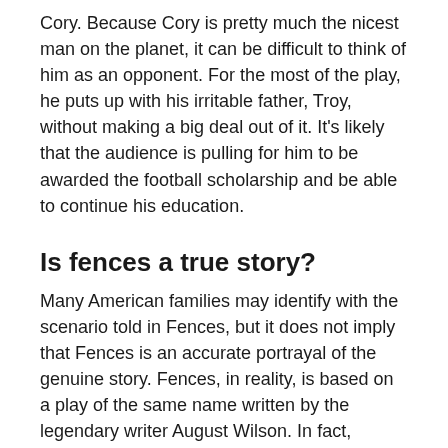Cory. Because Cory is pretty much the nicest man on the planet, it can be difficult to think of him as an opponent. For the most of the play, he puts up with his irritable father, Troy, without making a big deal out of it. It's likely that the audience is pulling for him to be awarded the football scholarship and be able to continue his education.
Is fences a true story?
Many American families may identify with the scenario told in Fences, but it does not imply that Fences is an accurate portrayal of the genuine story. Fences, in reality, is based on a play of the same name written by the legendary writer August Wilson. In fact, Wilson's name is the only